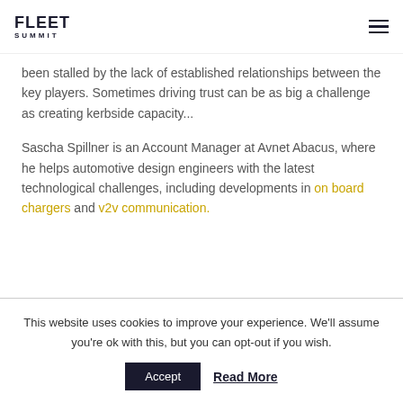FLEET SUMMIT
been stalled by the lack of established relationships between the key players. Sometimes driving trust can be as big a challenge as creating kerbside capacity...
Sascha Spillner is an Account Manager at Avnet Abacus, where he helps automotive design engineers with the latest technological challenges, including developments in on board chargers and v2v communication.
This website uses cookies to improve your experience. We'll assume you're ok with this, but you can opt-out if you wish.